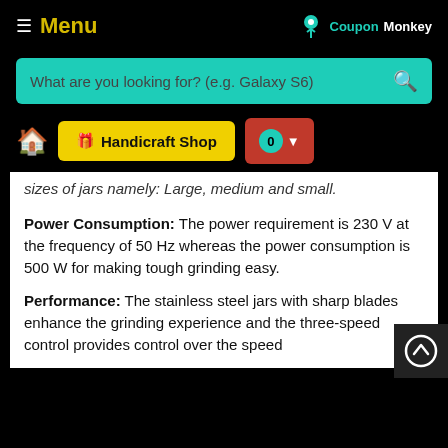Menu | CouponMonkey
What are you looking for? (e.g. Galaxy S6)
🏠 Handicraft Shop  0
sizes of jars namely: Large, medium and small.
Power Consumption: The power requirement is 230 V at the frequency of 50 Hz whereas the power consumption is 500 W for making tough grinding easy.
Performance: The stainless steel jars with sharp blades enhance the grinding experience and the three-speed control provides control over the speed